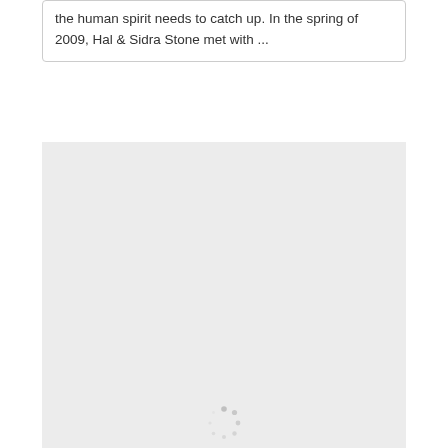the human spirit needs to catch up. In the spring of 2009, Hal & Sidra Stone met with ...
[Figure (other): A large light gray placeholder image box with a loading spinner icon centered near the bottom edge.]